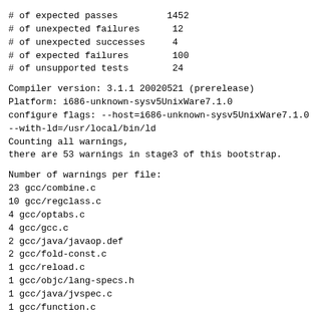# of expected passes         1452
# of unexpected failures      12
# of unexpected successes     4
# of expected failures        100
# of unsupported tests        24
Compiler version: 3.1.1 20020521 (prerelease)
Platform: i686-unknown-sysv5UnixWare7.1.0
configure flags: --host=i686-unknown-sysv5UnixWare7.1.0 --with-ld=/usr/local/bin/ld
Counting all warnings,
there are 53 warnings in stage3 of this bootstrap.
Number of warnings per file:
23 gcc/combine.c
10 gcc/regclass.c
4 gcc/optabs.c
4 gcc/gcc.c
2 gcc/java/javaop.def
2 gcc/fold-const.c
1 gcc/reload.c
1 gcc/objc/lang-specs.h
1 gcc/java/jvspec.c
1 gcc/function.c
1 gcc/emit-rtl.c
1 gcc/cp/lang-specs.h
1 gcc/cp/init.c
1 gcc/config/i386/i386.c
Number of warning types: